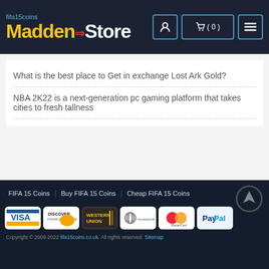fifa15coins Madden Store (0)
What is the best place to Get in exchange Lost Ark Gold?
NBA 2K22 is a next-generation pc gaming platform that takes cities to fresh tallness
FIFA 15 Coins | Buy FIFA 15 Coins | Cheap FIFA 15 Coins
[Figure (logo): Payment method logos: VISA, DISCOVER, Western Union, moneybookers, MasterCard, PayPal]
Copyright © 2009-2022 fifa15coins.co.uk. All rights reserved. Sitemap